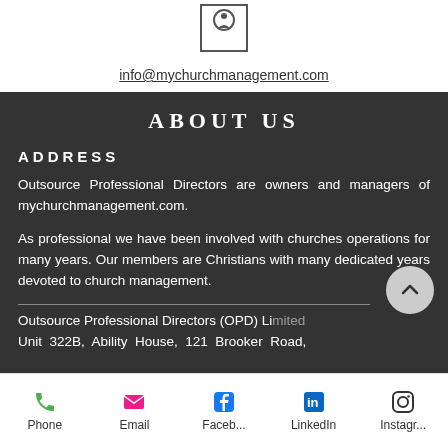[Figure (logo): Small icon/logo in a box]
info@mychurchmanagement.com
ABOUT US
ADDRESS
Outsource Professional Directors are owners and managers of mychurchmanagement.com.
As professional we have been involved with churches operations for many years. Our members are Christians with many dedicated years devoted to church management.
Outsource Professional Directors (OPD) Limited
Unit 322B, Ability House, 121 Brooker Road,
Phone  Email  Faceb...  LinkedIn  Instagr...